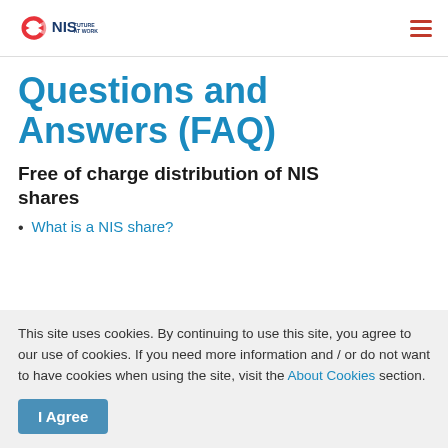NIS FUTURE AT WORK
Questions and Answers (FAQ)
Free of charge distribution of NIS shares
What is a NIS share?
This site uses cookies. By continuing to use this site, you agree to our use of cookies. If you need more information and / or do not want to have cookies when using the site, visit the About Cookies section.
I Agree